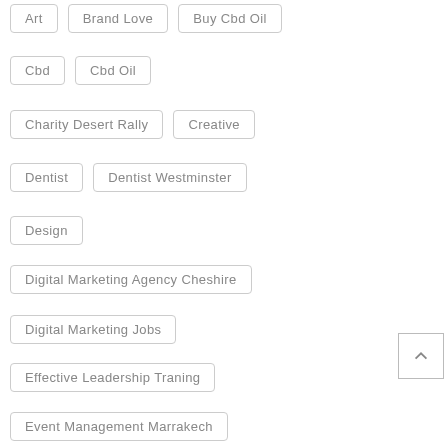Art
Brand Love
Buy Cbd Oil
Cbd
Cbd Oil
Charity Desert Rally
Creative
Dentist
Dentist Westminster
Design
Digital Marketing Agency Cheshire
Digital Marketing Jobs
Effective Leadership Traning
Event Management Marrakech